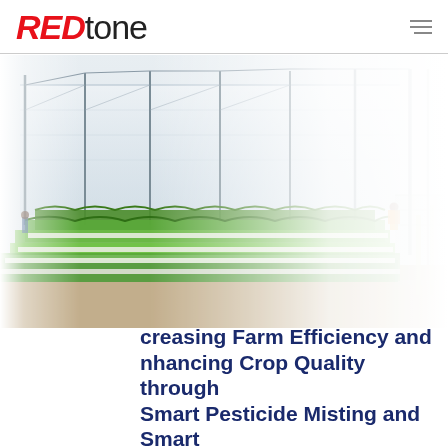REDtone
[Figure (photo): Greenhouse interior showing rows of green leafy plants growing in hydroponic trays under a large white polycarbonate roof structure, with workers visible on the right side.]
Increasing Farm Efficiency and Enhancing Crop Quality through Smart Pesticide Misting and Smart